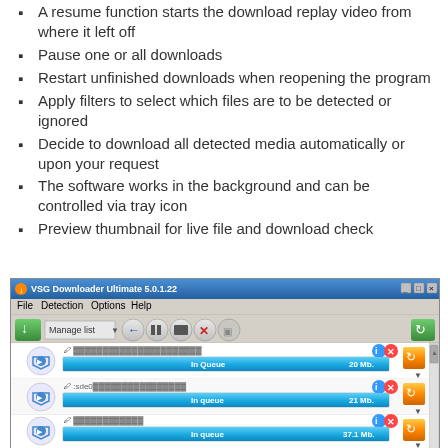A resume function starts the download replay video from where it left off
Pause one or all downloads
Restart unfinished downloads when reopening the program
Apply filters to select which files are to be detected or ignored
Decide to download all detected media automatically or upon your request
The software works in the background and can be controlled via tray icon
Preview thumbnail for live file and download check
[Figure (screenshot): Screenshot of VSG Downloader Ultimate 5.0.1.22 application window showing a download queue with three items labeled 'In Queue' with sizes 20 Mb, 21 Mb, and 37.1 Mb, each with a blue progress bar.]